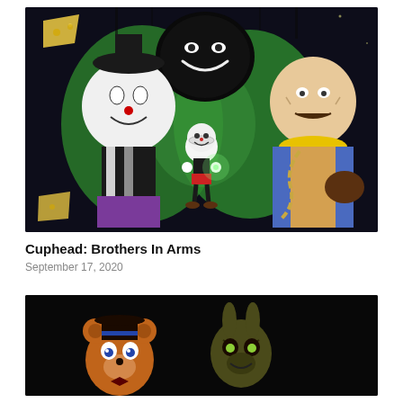[Figure (illustration): Fan art illustration of Cuphead characters: a small Cuphead character in center holding a glowing object, surrounded by large dark villain figures including a clown-like character on left and a large man with chains on right, on a dark background with green glowing elements]
Cuphead: Brothers In Arms
September 17, 2020
[Figure (illustration): Dark illustration showing animatronic-style game characters on a black background, including Freddy Fazbear and other horror game characters]